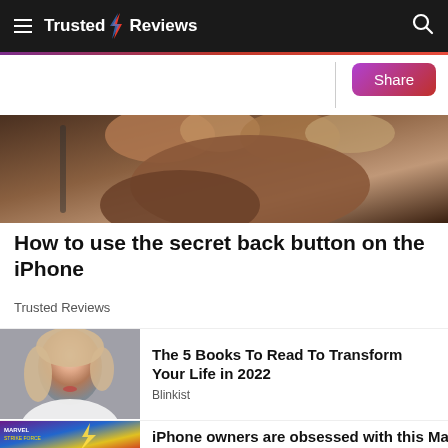Trusted Reviews
[Figure (photo): Close-up of hands holding a smartphone, fingers visible]
How to use the secret back button on the iPhone
Trusted Reviews
[Figure (photo): Portrait photo of a blonde woman in white clothing against a grey background]
The 5 Books To Read To Transform Your Life in 2022
Blinkist
[Figure (photo): Marvel Strike Force game promotional image with colorful superheroes]
iPhone owners are obsessed with this Marvel...